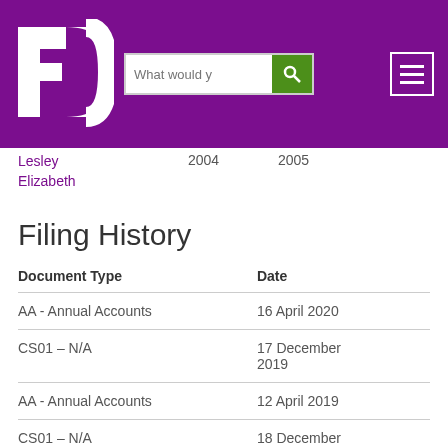FD logo, search bar, hamburger menu
Lesley Elizabeth   2004   2005
Filing History
| Document Type | Date |
| --- | --- |
| AA - Annual Accounts | 16 April 2020 |
| CS01 - N/A | 17 December 2019 |
| AA - Annual Accounts | 12 April 2019 |
| CS01 - N/A | 18 December |